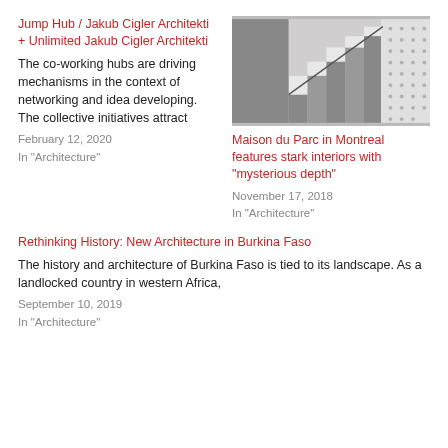Jump Hub / Jakub Cigler Architekti + Unlimited Jakub Cigler Architekti
The co-working hubs are driving mechanisms in the context of networking and idea developing. The collective initiatives attract
February 12, 2020
In "Architecture"
[Figure (photo): Black and white photograph of a modern staircase with geometric angular steps and a perforated wall panel]
Maison du Parc in Montreal features stark interiors with “mysterious depth”
November 17, 2018
In "Architecture"
Rethinking History: New Architecture in Burkina Faso
The history and architecture of Burkina Faso is tied to its landscape. As a landlocked country in western Africa,
September 10, 2019
In "Architecture"